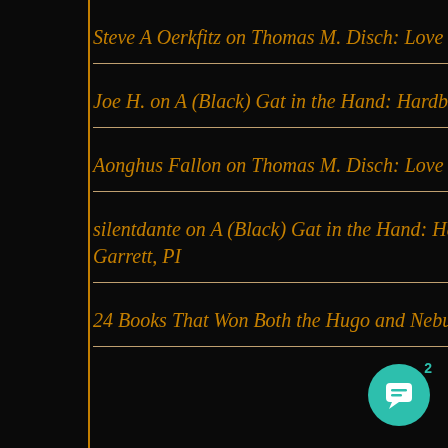Steve A Oerkfitz on Thomas M. Disch: Love and Nonexistence
Joe H. on A (Black) Gat in the Hand: Hardboiled Fantasy – Garrett, PI
Aonghus Fallon on Thomas M. Disch: Love and Nonexistence
silentdante on A (Black) Gat in the Hand: Hardboiled Fantasy – Garrett, PI
24 Books That Won Both the Hugo and Nebula Awards - JuicyGoofy on